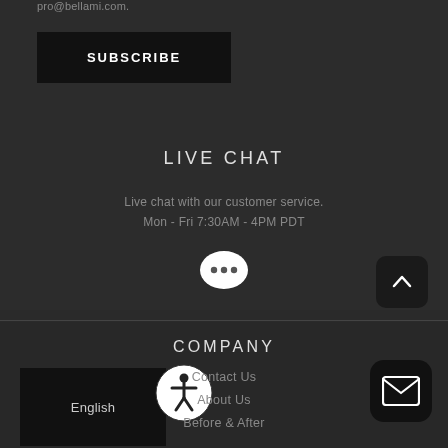pro@bellami.com.
SUBSCRIBE
LIVE CHAT
Live chat with our customer service.
Mon - Fri 7:30AM - 4PM PDT
[Figure (illustration): Speech bubble chat icon with three dots]
[Figure (illustration): Back to top arrow button, dark rounded square]
COMPANY
[Figure (illustration): Accessibility icon - person in circle]
English
Contact Us
About Us
Before & After
[Figure (illustration): Mail envelope icon button]